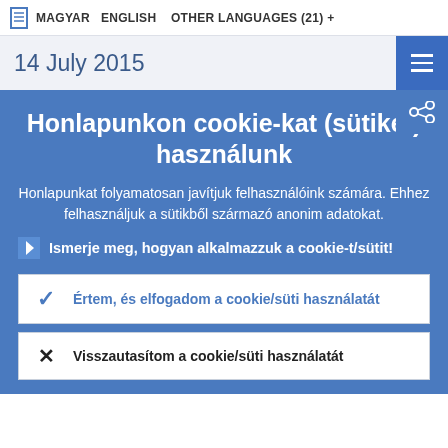MAGYAR   ENGLISH   OTHER LANGUAGES (21) +
14 July 2015
Honlapunkon cookie-kat (sütiket) használunk
Honlapunkat folyamatosan javítjuk felhasználóink számára. Ehhez felhasználjuk a sütikből származó anonim adatokat.
Ismerje meg, hogyan alkalmazzuk a cookie-t/sütit!
Értem, és elfogadom a cookie/süti használatát
Visszautasítom a cookie/süti használatát